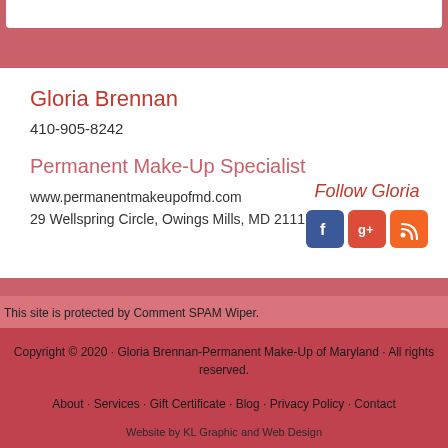Gloria Brennan
410-905-8242
Permanent Make-Up Specialist
www.permanentmakeupofmd.com
29 Wellspring Circle, Owings Mills, MD 21117
Follow Gloria
[Figure (logo): Social media icons: Facebook (blue), Google+ (red), RSS (orange)]
This site is protected by Comment SPAM Wiper.
Copyright © 2020 · Gloria Brennan-Permanent Make-Up of Maryland · All rights reserved.
About · Services · Gift Certificate · Blog · Privacy Policy · Contact
Website by KL Graphic and Web Design